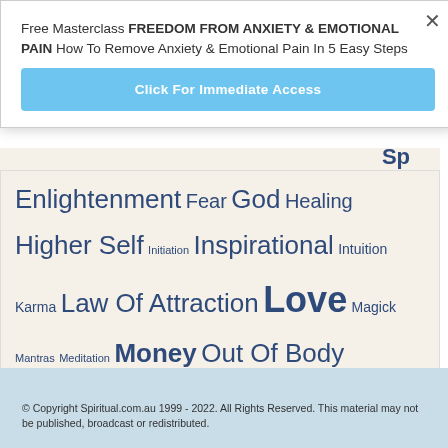Free Masterclass FREEDOM FROM ANXIETY & EMOTIONAL PAIN How To Remove Anxiety & Emotional Pain In 5 Easy Steps
Click For Immediate Access
Enlightenment Fear God Healing Higher Self Initiation Inspirational Intuition Karma Law Of Attraction Love Magick Mantras Meditation Money Out Of Body Experiences Predicting The Future Prosperity Sexuality Soul Mates Spirit Guides Spirituality Thelema Thoth Thoughts Wealth Weight Loss Yoga
© Copyright Spiritual.com.au 1999 - 2022. All Rights Reserved. This material may not be published, broadcast or redistributed.